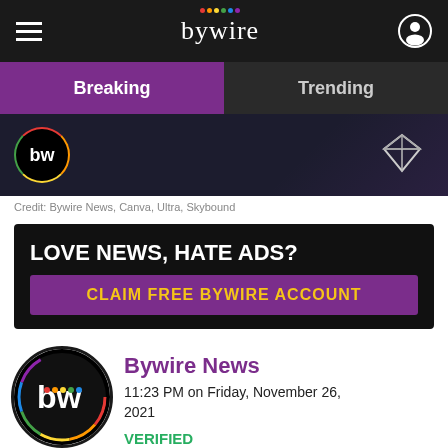bywire
Breaking | Trending
[Figure (screenshot): Dark image strip showing BW logo circle on left and a diamond/gem icon on the right against dark background]
Credit: Bywire News, Canva, Ultra, Skybound
[Figure (infographic): Black ad banner reading LOVE NEWS, HATE ADS? with purple CTA button CLAIM FREE BYWIRE ACCOUNT in yellow text]
Bywire News
11:23 PM on Friday, November 26, 2021
VERIFIED